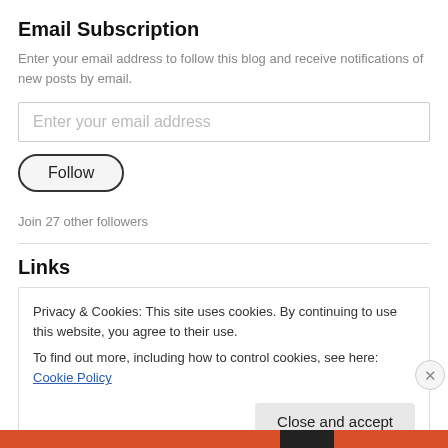Email Subscription
Enter your email address to follow this blog and receive notifications of new posts by email.
Enter your email address
Follow
Join 27 other followers
Links
Privacy & Cookies: This site uses cookies. By continuing to use this website, you agree to their use.
To find out more, including how to control cookies, see here: Cookie Policy
Close and accept